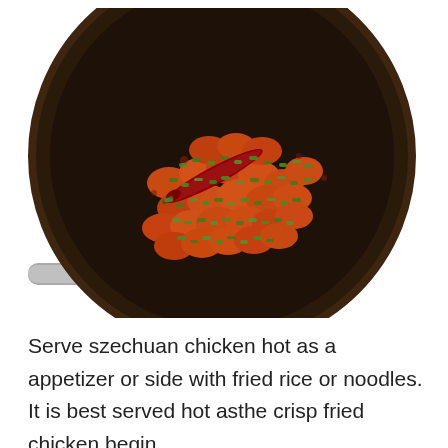[Figure (photo): Overhead view of a dark wok sitting on a gas stove burner, filled with szechuan chicken pieces coated in red-orange sauce and topped with chopped green onions and a dried red chili pepper.]
Serve szechuan chicken hot as a appetizer or side with fried rice or noodles. It is best served hot asthe crisp fried chicken begin